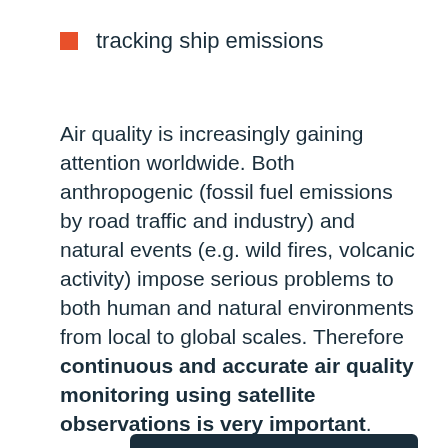tracking ship emissions
Air quality is increasingly gaining attention worldwide. Both anthropogenic (fossil fuel emissions by road traffic and industry) and natural events (e.g. wild fires, volcanic activity) impose serious problems to both human and natural environments from local to global scales. Therefore continuous and accurate air quality monitoring using satellite observations is very important.
[Figure (other): Dark rounded bar at bottom of page, partial view of a figure or chart]